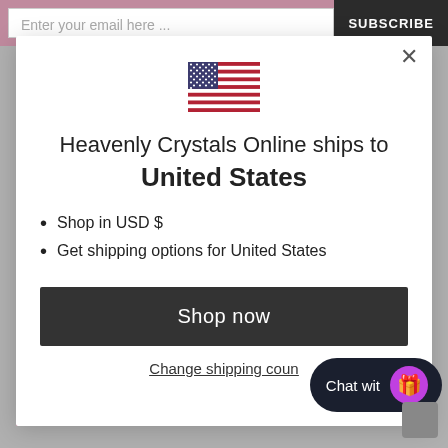Enter your email here ...
SUBSCRIBE
[Figure (illustration): US flag emoji/icon]
Heavenly Crystals Online ships to United States
Shop in USD $
Get shipping options for United States
Shop now
Change shipping country